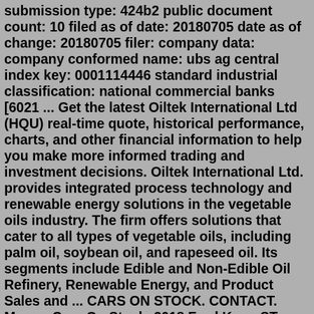submission type: 424b2 public document count: 10 filed as of date: 20180705 date as of change: 20180705 filer: company data: company conformed name: ubs ag central index key: 0001114446 standard industrial classification: national commercial banks [6021 ... Get the latest Oiltek International Ltd (HQU) real-time quote, historical performance, charts, and other financial information to help you make more informed trading and investment decisions. Oiltek International Ltd. provides integrated process technology and renewable energy solutions in the vegetable oils industry. The firm offers solutions that cater to all types of vegetable oils, including palm oil, soybean oil, and rapeseed oil. Its segments include Edible and Non-Edible Oil Refinery, Renewable Energy, and Product Sales and ... CARS ON STOCK. CONTACT. More... Cars On Stock. 2018 Ford Kuga ST-LINE 2.0 Diesel Automatic. 2014 Mk7.5 Ford Fiesta Titanium 1.0 Ecoboost Petrol 5 Door. 2016 66 BMW 120D X Drive M Sport 2.0 Diesel. 2015 Peugeot 2008 Allure 1.6 Diesel. 2012 (62) Volkswagen Polo...